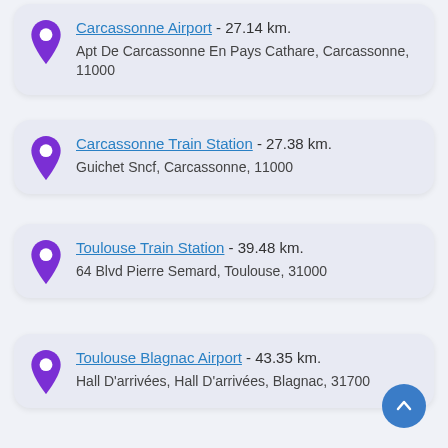Carcassonne Airport - 27.14 km. Apt De Carcassonne En Pays Cathare, Carcassonne, 11000
Carcassonne Train Station - 27.38 km. Guichet Sncf, Carcassonne, 11000
Toulouse Train Station - 39.48 km. 64 Blvd Pierre Semard, Toulouse, 31000
Toulouse Blagnac Airport - 43.35 km. Hall D'arrivées, Hall D'arrivées, Blagnac, 31700